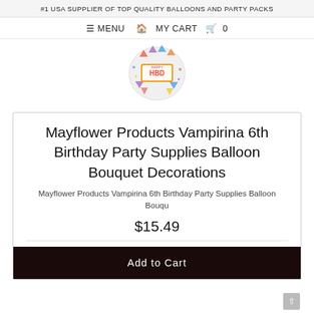#1 USA SUPPLIER OF TOP QUALITY BALLOONS AND PARTY PACKS
≡ MENU  🏠  MY CART  🛒  0
[Figure (logo): Circular logo with colorful party decorations and text HBD]
Mayflower Products Vampirina 6th Birthday Party Supplies Balloon Bouquet Decorations
Mayflower Products Vampirina 6th Birthday Party Supplies Balloon Bouqu
$15.49
Add to Cart